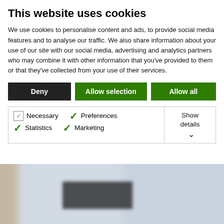This website uses cookies
We use cookies to personalise content and ads, to provide social media features and to analyse our traffic. We also share information about your use of our site with our social media, advertising and analytics partners who may combine it with other information that you've provided to them or that they've collected from your use of their services.
Deny | Allow selection | Allow all
| Necessary | Preferences | Statistics | Show details |
| --- | --- | --- | --- |
| ✓ Marketing |  |  |  |
[Figure (photo): Blurred background image of a website screenshot with beige and blue tones, partially showing product listings or web content]